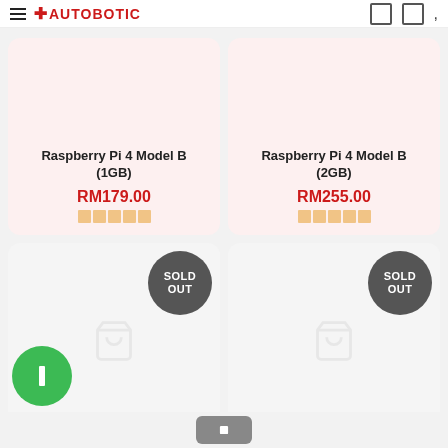Autobotic
Raspberry Pi 4 Model B (1GB)
RM179.00
Raspberry Pi 4 Model B (2GB)
RM255.00
[Figure (screenshot): Sold Out badge on product card 3]
[Figure (screenshot): Sold Out badge on product card 4]